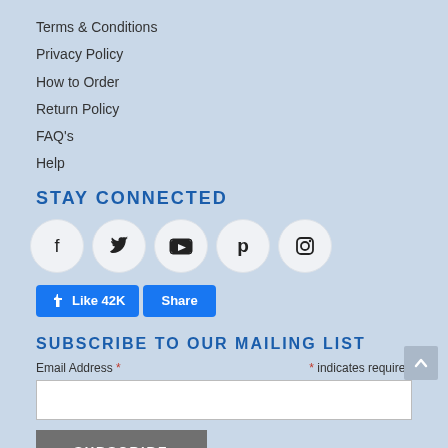Terms & Conditions
Privacy Policy
How to Order
Return Policy
FAQ's
Help
STAY CONNECTED
[Figure (infographic): Social media icons: Facebook, Twitter, YouTube, Pinterest, Instagram in white circles]
[Figure (infographic): Facebook Like 42K button and Share button]
SUBSCRIBE TO OUR MAILING LIST
Email Address * * indicates required
[Figure (other): Email address input field (white box)]
[Figure (other): SUBSCRIBE button (gray)]